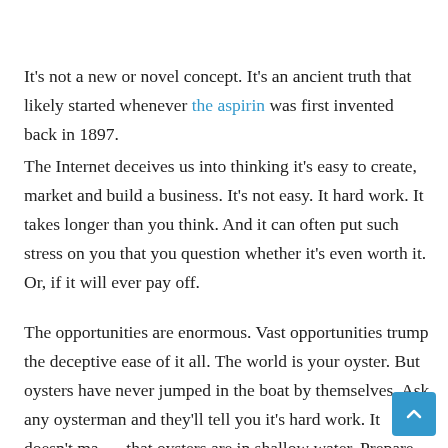It's not a new or novel concept. It's an ancient truth that likely started whenever the aspirin was first invented back in 1897.
The Internet deceives us into thinking it's easy to create, market and build a business. It's not easy. It hard work. It takes longer than you think. And it can often put such stress on you that you question whether it's even worth it. Or, if it will ever pay off.
The opportunities are enormous. Vast opportunities trump the deceptive ease of it all. The world is your oyster. But oysters have never jumped in the boat by themselves. Ask any oysterman and they'll tell you it's hard work. It doesn't ma… that oysters are in shallow water. Prepare to work.